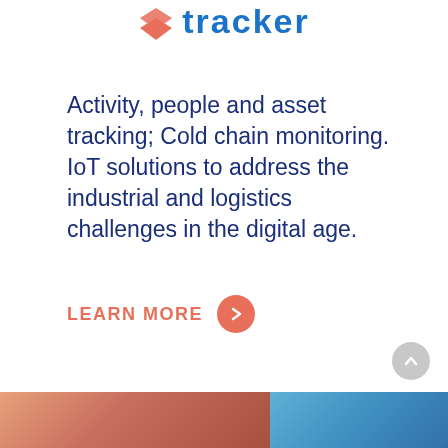[Figure (logo): Orange downward chevron/location pin icon next to the text 'tracker' in bold blue letters]
Activity, people and asset tracking; Cold chain monitoring. IoT solutions to address the industrial and logistics challenges in the digital age.
LEARN MORE
[Figure (illustration): Coral/salmon colored circular button with a right-pointing chevron arrow]
[Figure (illustration): Gray circular scroll-to-top button with upward chevron]
[Figure (photo): Bottom strip showing a partial photo — left side warm orange/skin tones, right side blue sky]